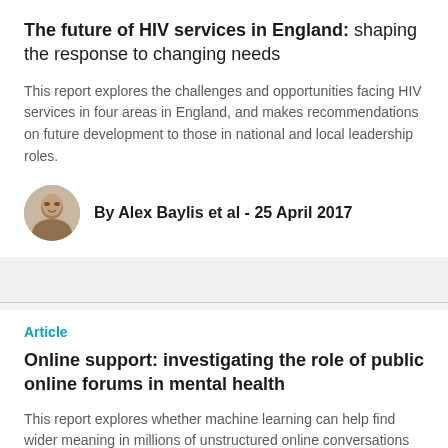The future of HIV services in England: shaping the response to changing needs
This report explores the challenges and opportunities facing HIV services in four areas in England, and makes recommendations on future development to those in national and local leadership roles.
By Alex Baylis et al - 25 April 2017
Article
Online support: investigating the role of public online forums in mental health
This report explores whether machine learning can help find wider meaning in millions of unstructured online conversations about mental health.